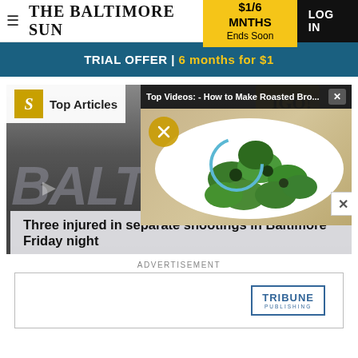THE BALTIMORE SUN | $1/6 MNTHS Ends Soon | LOG IN
TRIAL OFFER | 6 months for $1
[Figure (screenshot): Screenshot of The Baltimore Sun website showing a news article about 'Three injured in separate shootings in Baltimore Friday night' with a video overlay popup showing 'Top Videos: - How to Make Roasted Bro...' with an image of roasted broccoli, and a 'Top Articles' overlay in the top left corner.]
ADVERTISEMENT
[Figure (logo): Tribune Publishing logo inside a rectangular border]